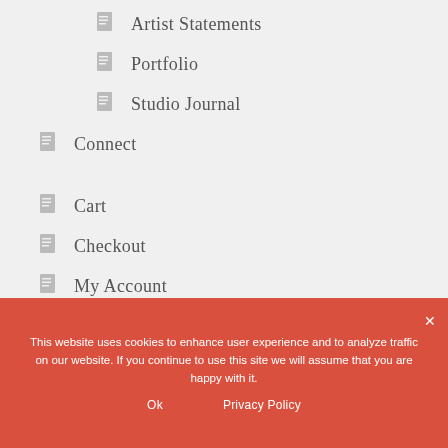Artist Statements
Portfolio
Studio Journal
Connect
Cart
Checkout
My Account
Policies
This website uses cookies to enhance user experience and to analyze traffic on our website. If you continue to use this site we will assume that you are happy with it.
Ok   Privacy Policy